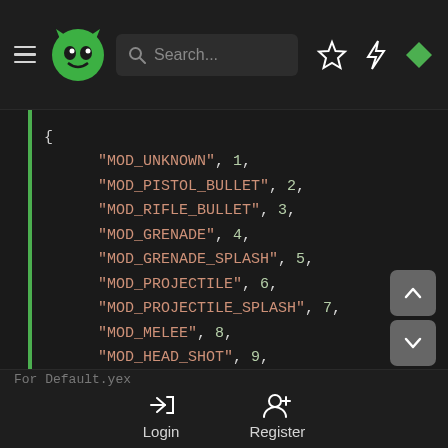[Figure (screenshot): Dark-themed web app navigation bar with hamburger menu, green monster logo, search bar, star icon, lightning bolt icon, and green diamond icon]
{
  "MOD_UNKNOWN", 1,
  "MOD_PISTOL_BULLET", 2,
  "MOD_RIFLE_BULLET", 3,
  "MOD_GRENADE", 4,
  "MOD_GRENADE_SPLASH", 5,
  "MOD_PROJECTILE", 6,
  "MOD_PROJECTILE_SPLASH", 7,
  "MOD_MELEE", 8,
  "MOD_HEAD_SHOT", 9,
  "MOD_CRUSH", 0xA,
  "MOD_FALLING", 0xB,
  "MOD_SUICIDE", 0xC,
  "MOD_TRIGGER_HURT", 0xD
For Default.yex
Login  Register